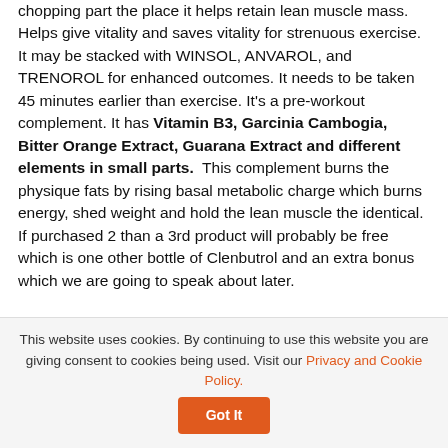chopping part the place it helps retain lean muscle mass. Helps give vitality and saves vitality for strenuous exercise. It may be stacked with WINSOL, ANVAROL, and TRENOROL for enhanced outcomes. It needs to be taken 45 minutes earlier than exercise. It's a pre-workout complement. It has Vitamin B3, Garcinia Cambogia, Bitter Orange Extract, Guarana Extract and different elements in small parts. This complement burns the physique fats by rising basal metabolic charge which burns energy, shed weight and hold the lean muscle the identical. If purchased 2 than a 3rd product will probably be free which is one other bottle of Clenbutrol and an extra bonus which we are going to speak about later.
This website uses cookies. By continuing to use this website you are giving consent to cookies being used. Visit our Privacy and Cookie Policy.